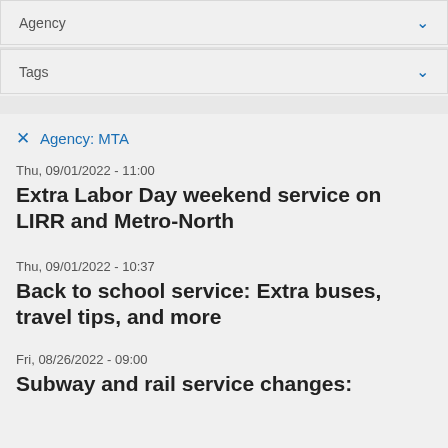Agency
Tags
Agency: MTA
Thu, 09/01/2022 - 11:00
Extra Labor Day weekend service on LIRR and Metro-North
Thu, 09/01/2022 - 10:37
Back to school service: Extra buses, travel tips, and more
Fri, 08/26/2022 - 09:00
Subway and rail service changes: